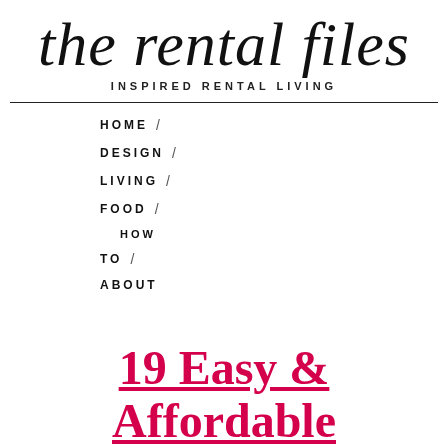the rental files
INSPIRED RENTAL LIVING
HOME /
DESIGN /
LIVING /
FOOD /
HOW
TO /
ABOUT
19 Easy & Affordable